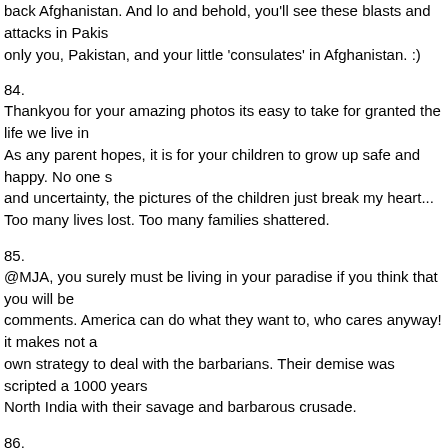back Afghanistan. And lo and behold, you'll see these blasts and attacks in Pakis only you, Pakistan, and your little 'consulates' in Afghanistan. :)
84.
Thankyou for your amazing photos its easy to take for granted the life we live in As any parent hopes, it is for your children to grow up safe and happy. No one s and uncertainty, the pictures of the children just break my heart...
Too many lives lost. Too many families shattered.
85.
@MJA, you surely must be living in your paradise if you think that you will be comments. America can do what they want to, who cares anyway! it makes not a own strategy to deal with the barbarians. Their demise was scripted a 1000 years North India with their savage and barbarous crusade.
86.
Indian, Pakistani, Palestenian, Isaeli , Arab, Jew, American .... may be you all se how you identify what cause to take-up ...what to oppose .... but after seeing the HUMANITY - HUMANITY is the only looser in all this ....
You name the city Bombay - and drop a bomb ...hundreds die ..... You named am another one .. another 100 dies .... histroy divided israel and palestien ... and sev you know who looses most .... that mother whoes 2 yr old had no clue that the w really a world where she should him got him/her into on the first place ....... that